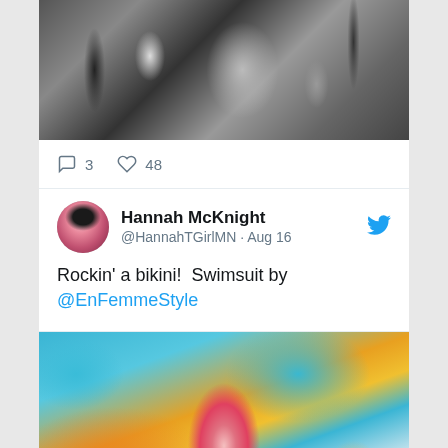[Figure (photo): Black and white photo of a woman posing, partially cropped at top]
3   48
[Figure (photo): Twitter profile avatar of Hannah McKnight]
Hannah McKnight @HannahTGirlMN · Aug 16
Rockin' a bikini!  Swimsuit by @EnFemmeStyle
[Figure (photo): Color photo of a woman in a pink bikini against a colorful painted wall background]